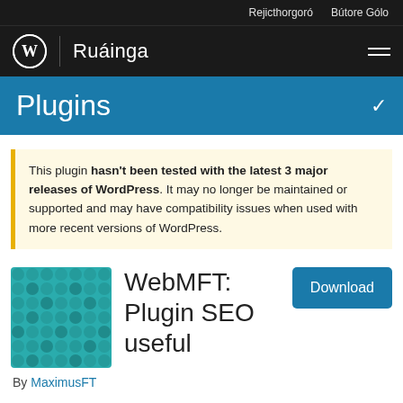Rejicthorgoró   Bútore Gólo
Ruáinga
Plugins
This plugin hasn't been tested with the latest 3 major releases of WordPress. It may no longer be maintained or supported and may have compatibility issues when used with more recent versions of WordPress.
[Figure (logo): Teal checkerboard plugin logo square]
WebMFT: Plugin SEO useful
By MaximusFT